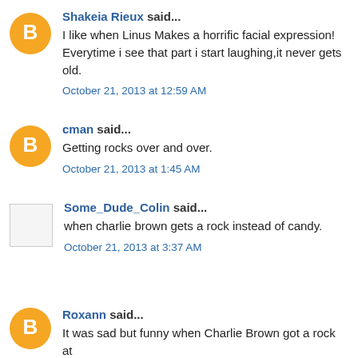Shakeia Rieux said... I like when Linus Makes a horrific facial expression! Everytime i see that part i start laughing,it never gets old. October 21, 2013 at 12:59 AM
cman said... Getting rocks over and over. October 21, 2013 at 1:45 AM
Some_Dude_Colin said... when charlie brown gets a rock instead of candy. October 21, 2013 at 3:37 AM
Roxann said... It was sad but funny when Charlie Brown got a rock at